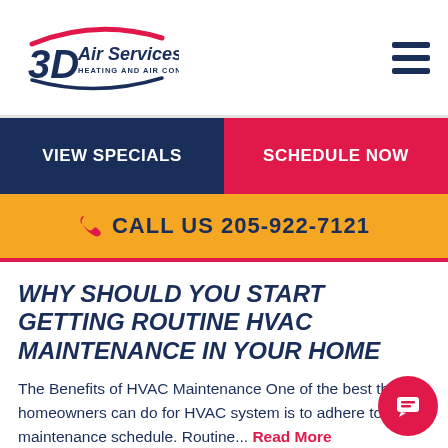[Figure (logo): 3D Air Services logo with red arc and blue text reading 'Heating and Air Conditioning']
VIEW SPECIALS | SCHEDULE NOW
CALL US 205-922-7121
WHY SHOULD YOU START GETTING ROUTINE HVAC MAINTENANCE IN YOUR HOME
The Benefits of HVAC Maintenance One of the best things homeowners can do for HVAC system is to adhere to a maintenance schedule. Routine... Read More